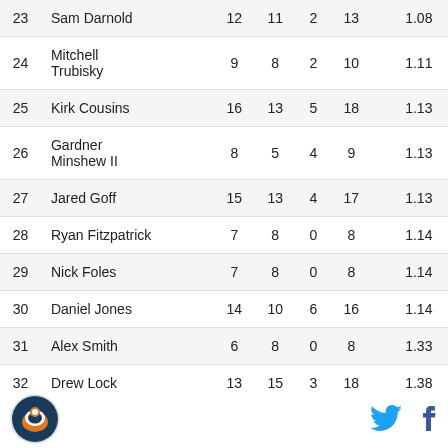| # | Name | Col1 | Col2 | Col3 | Col4 | Score |
| --- | --- | --- | --- | --- | --- | --- |
| 23 | Sam Darnold | 12 | 11 | 2 | 13 | 1.08 |
| 24 | Mitchell Trubisky | 9 | 8 | 2 | 10 | 1.11 |
| 25 | Kirk Cousins | 16 | 13 | 5 | 18 | 1.13 |
| 26 | Gardner Minshew II | 8 | 5 | 4 | 9 | 1.13 |
| 27 | Jared Goff | 15 | 13 | 4 | 17 | 1.13 |
| 28 | Ryan Fitzpatrick | 7 | 8 | 0 | 8 | 1.14 |
| 29 | Nick Foles | 7 | 8 | 0 | 8 | 1.14 |
| 30 | Daniel Jones | 14 | 10 | 6 | 16 | 1.14 |
| 31 | Alex Smith | 6 | 8 | 0 | 8 | 1.33 |
| 32 | Drew Lock | 13 | 15 | 3 | 18 | 1.38 |
| 33 | ... | ... | ... | ... | ... | ... |